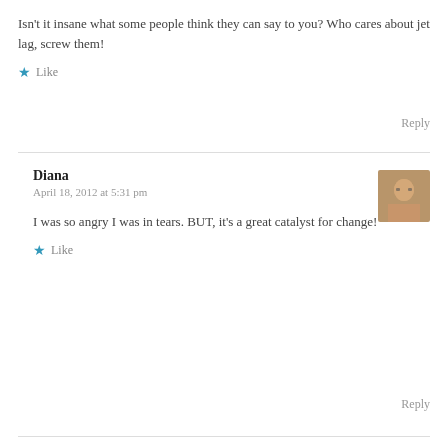Isn't it insane what some people think they can say to you? Who cares about jet lag, screw them!
Like
Reply
Diana
April 18, 2012 at 5:31 pm
I was so angry I was in tears. BUT, it's a great catalyst for change!
Like
Reply